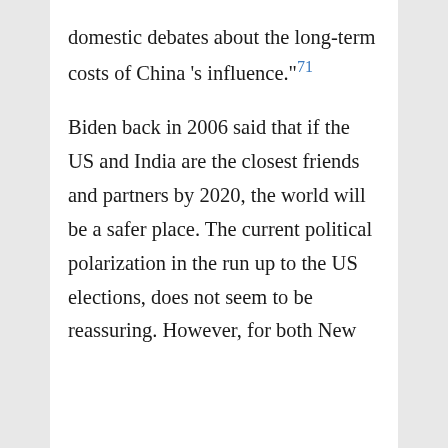domestic debates about the long-term costs of China 's influence."71

Biden back in 2006 said that if the US and India are the closest friends and partners by 2020, the world will be a safer place. The current political polarization in the run up to the US elections, does not seem to be reassuring. However, for both New